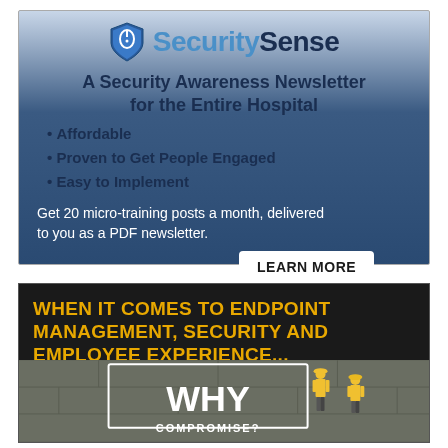[Figure (infographic): SecuritySense advertisement: A Security Awareness Newsletter for the Entire Hospital. Bullet points: Affordable, Proven to Get People Engaged, Easy to Implement. Body text: Get 20 micro-training posts a month, delivered to you as a PDF newsletter. LEARN MORE button.]
[Figure (infographic): Endpoint management advertisement with dark background and yellow text: WHEN IT COMES TO ENDPOINT MANAGEMENT, SECURITY AND EMPLOYEE EXPERIENCE... with WHY COMPROMISE? text overlay and workers in yellow safety gear.]